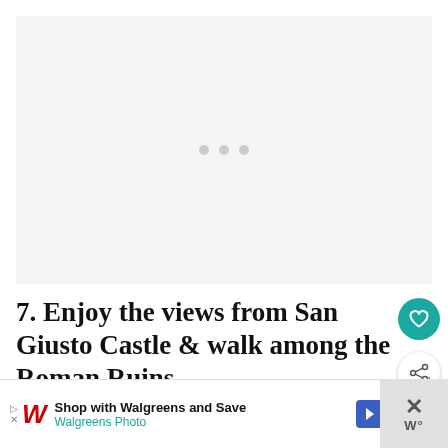[Figure (photo): Large image placeholder with loading dots — grey rectangle with three small grey dots centered, indicating an image is loading]
7. Enjoy the views from San Giusto Castle & walk among the Roman Ruins
[Figure (illustration): Teal circular heart/favorite button icon on the right side]
[Figure (illustration): White circular share button icon on the right side]
Shop with Walgreens and Save — Walgreens Photo advertisement banner with close button